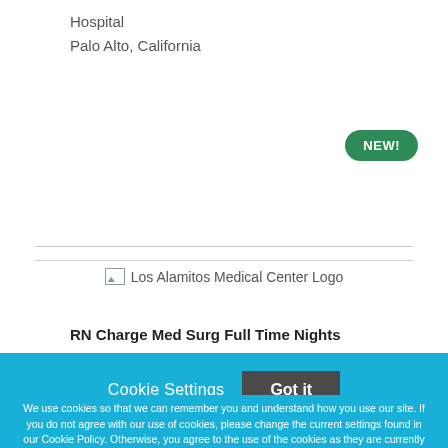Hospital
Palo Alto, California
[Figure (logo): Los Alamitos Medical Center Logo placeholder image]
RN Charge Med Surg Full Time Nights
Cookie Settings
Got it
We use cookies so that we can remember you and understand how you use our site. If you do not agree with our use of cookies, please change the current settings found in our Cookie Policy. Otherwise, you agree to the use of the cookies as they are currently set.